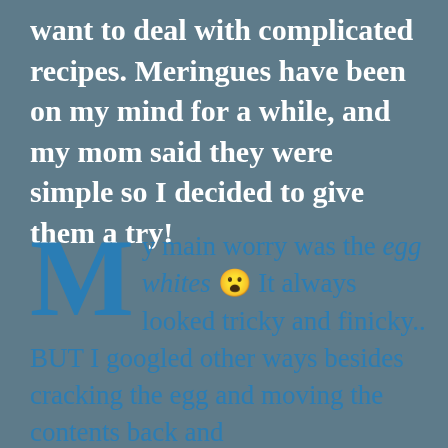want to deal with complicated recipes. Meringues have been on my mind for a while, and my mom said they were simple so I decided to give them a try!
My main worry was the egg whites 😮 It always looked tricky and finicky.. BUT I googled other ways besides cracking the egg and moving the contents back and